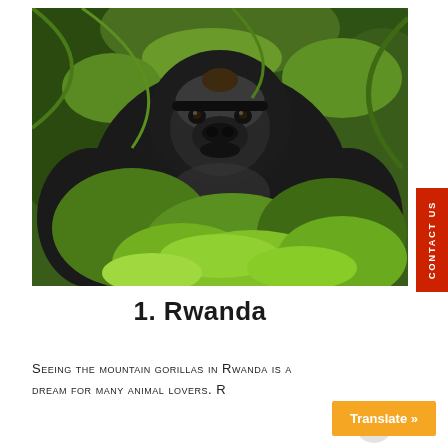[Figure (photo): A large mountain gorilla sitting among lush green vegetation in Rwanda. The gorilla faces the camera with a calm expression, surrounded by green leaves and jungle foliage.]
1. Rwanda
Seeing the mountain gorillas in Rwanda is a dream for many animal lovers. R...
CONTACT US
Translate »